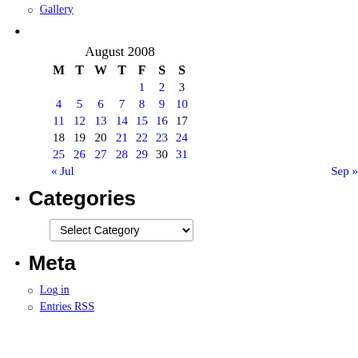Gallery
| M | T | W | T | F | S | S |
| --- | --- | --- | --- | --- | --- | --- |
|  |  |  |  | 1 | 2 | 3 |
| 4 | 5 | 6 | 7 | 8 | 9 | 10 |
| 11 | 12 | 13 | 14 | 15 | 16 | 17 |
| 18 | 19 | 20 | 21 | 22 | 23 | 24 |
| 25 | 26 | 27 | 28 | 29 | 30 | 31 |
| « Jul |  |  |  |  |  | Sep » |
Categories
Meta
Log in
Entries RSS